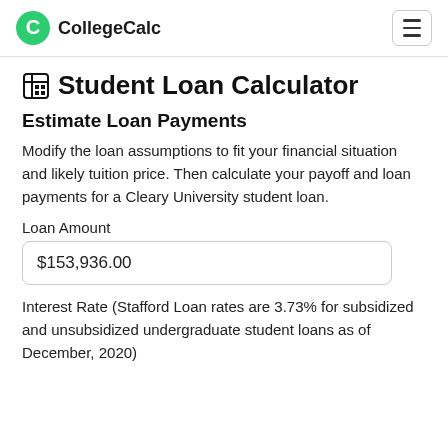CollegeCalc
Student Loan Calculator
Estimate Loan Payments
Modify the loan assumptions to fit your financial situation and likely tuition price. Then calculate your payoff and loan payments for a Cleary University student loan.
Loan Amount
$153,936.00
Interest Rate (Stafford Loan rates are 3.73% for subsidized and unsubsidized undergraduate student loans as of December, 2020)